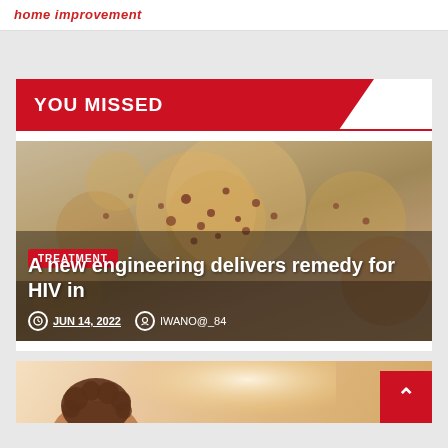home improvement
YOU MISSED
[Figure (photo): Close-up macro photo of petri dish or skin surface with reddish-brown spots/lesions on beige background, related to HIV treatment article]
TREATMENT
A new engineering delivers remedy for HIV in
JUN 14, 2022   IWANO@_84
[Figure (photo): Partial photo of a person with curly hair, brightly lit background, bottom of page]